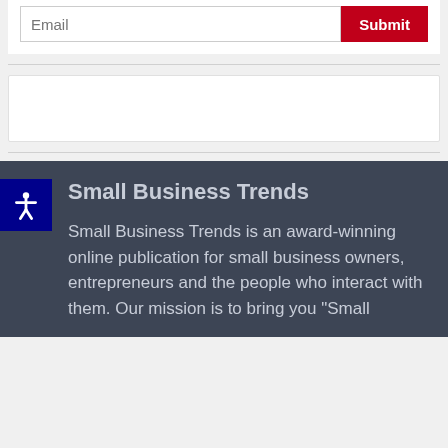Email
Submit
Small Business Trends
Small Business Trends is an award-winning online publication for small business owners, entrepreneurs and the people who interact with them. Our mission is to bring you "Small